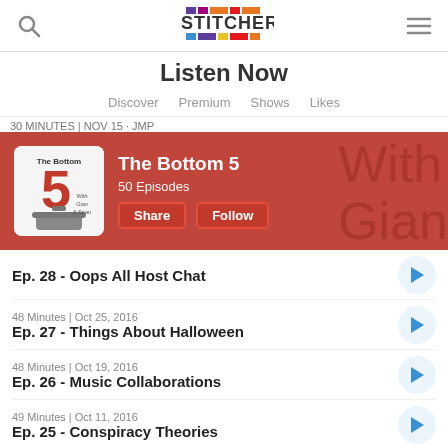Stitcher — Listen Now
Listen Now
Discover  Premium  Shows  Likes
30 MINUTES | NOV 15 · JMP
[Figure (screenshot): The Bottom 5 podcast banner with red background, podcast artwork thumbnail, title 'The Bottom 5', '50 Episodes', and Share/Follow buttons. Background shows handwritten text 'With Gian &']
Ep. 28 - Oops All Host Chat
48 Minutes | Oct 25, 2016
Ep. 27 - Things About Halloween
48 Minutes | Oct 19, 2016
Ep. 26 - Music Collaborations
49 Minutes | Oct 11, 2016
Ep. 25 - Conspiracy Theories